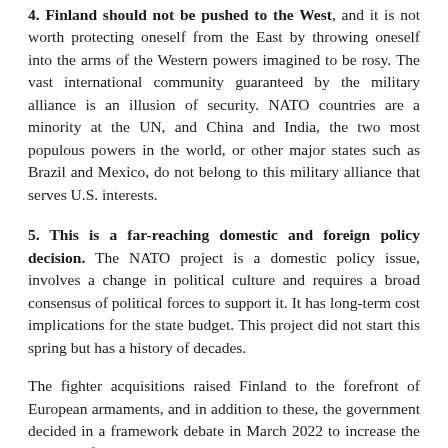4. Finland should not be pushed to the West, and it is not worth protecting oneself from the East by throwing oneself into the arms of the Western powers imagined to be rosy. The vast international community guaranteed by the military alliance is an illusion of security. NATO countries are a minority at the UN, and China and India, the two most populous powers in the world, or other major states such as Brazil and Mexico, do not belong to this military alliance that serves U.S. interests.
5. This is a far-reaching domestic and foreign policy decision. The NATO project is a domestic policy issue, involves a change in political culture and requires a broad consensus of political forces to support it. It has long-term cost implications for the state budget. This project did not start this spring but has a history of decades.
The fighter acquisitions raised Finland to the forefront of European armaments, and in addition to these, the government decided in a framework debate in March 2022 to increase the annual defense budget by EUR 500 million in 2023–2026. In foreign policy, NATO membership